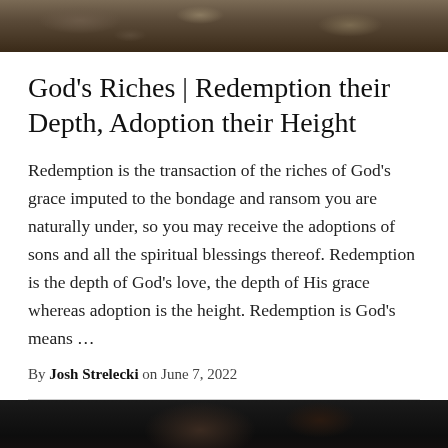[Figure (photo): Top portion of a landscape photo showing rocky terrain with moss or vegetation, dark earthy tones]
God’s Riches | Redemption their Depth, Adoption their Height
Redemption is the transaction of the riches of God’s grace imputed to the bondage and ransom you are naturally under, so you may receive the adoptions of sons and all the spiritual blessings thereof. Redemption is the depth of God’s love, the depth of His grace whereas adoption is the height. Redemption is God’s means…
By Josh Strelecki on June 7, 2022
[Figure (photo): Bottom portion of a dark photo, likely a person or scene in very low lighting with dark tones]